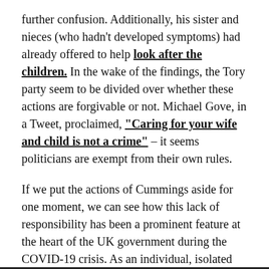further confusion. Additionally, his sister and nieces (who hadn't developed symptoms) had already offered to help look after the children. In the wake of the findings, the Tory party seem to be divided over whether these actions are forgivable or not. Michael Gove, in a Tweet, proclaimed, "Caring for your wife and child is not a crime" – it seems politicians are exempt from their own rules.
If we put the actions of Cummings aside for one moment, we can see how this lack of responsibility has been a prominent feature at the heart of the UK government during the COVID-19 crisis. As an individual, isolated issue, it does partly feel like the media are dragging it out a bit, when we should be focusing on more prominent issues. I think it's wrong what he did, and he does deserve to be sacked, but I think it's significance is in the bigger picture it points to.